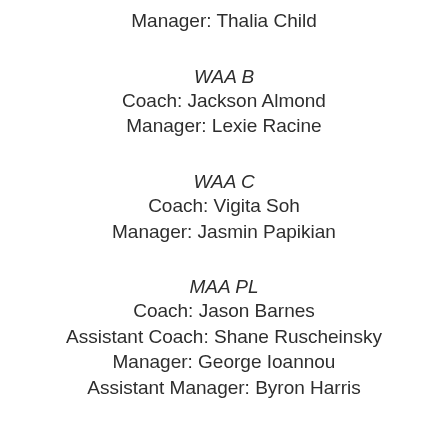Manager: Thalia Child
WAA B
Coach: Jackson Almond
Manager: Lexie Racine
WAA C
Coach: Vigita Soh
Manager: Jasmin Papikian
MAA PL
Coach: Jason Barnes
Assistant Coach: Shane Ruscheinsky
Manager: George Ioannou
Assistant Manager: Byron Harris